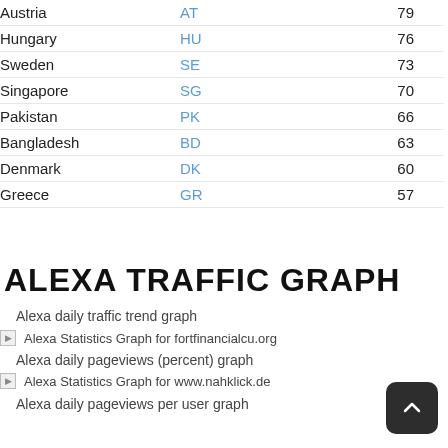| Country | Code | Value |
| --- | --- | --- |
| Austria | AT | 79 |
| Hungary | HU | 76 |
| Sweden | SE | 73 |
| Singapore | SG | 70 |
| Pakistan | PK | 66 |
| Bangladesh | BD | 63 |
| Denmark | DK | 60 |
| Greece | GR | 57 |
ALEXA TRAFFIC GRAPH
Alexa daily traffic trend graph
[Figure (other): Alexa Statistics Graph for fortfinancialcu.org]
Alexa daily pageviews (percent) graph
[Figure (other): Alexa Statistics Graph for www.nahklick.de]
Alexa daily pageviews per user graph